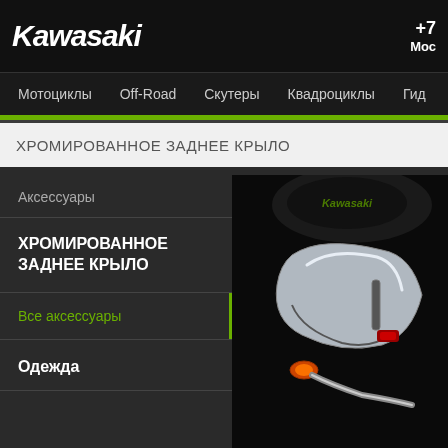Kawasaki
+7 | Москва
Мотоциклы  Off-Road  Скутеры  Квадроциклы  Гид...
ХРОМИРОВАННОЕ ЗАДНЕЕ КРЫЛО
Аксессуары
ХРОМИРОВАННОЕ ЗАДНЕЕ КРЫЛО
Все аксессуары
Одежда
[Figure (photo): Close-up photo of a Kawasaki motorcycle rear section with chrome fender, seat with Kawasaki logo, turn signal and handlebar visible]